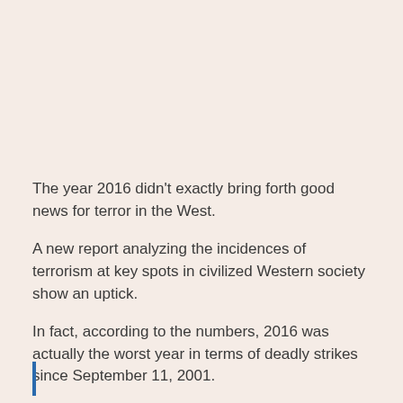The year 2016 didn’t exactly bring forth good news for terror in the West.
A new report analyzing the incidences of terrorism at key spots in civilized Western society show an uptick.
In fact, according to the numbers, 2016 was actually the worst year in terms of deadly strikes since September 11, 2001.
(partial blockquote text cut off at bottom of page)